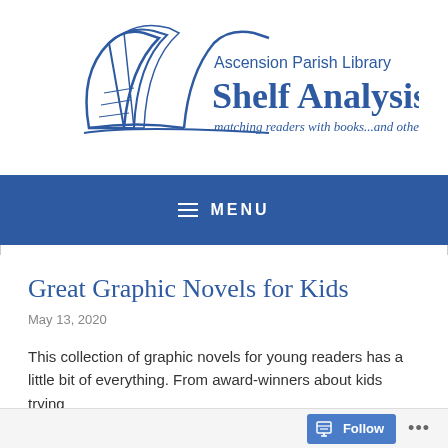[Figure (logo): Ascension Parish Library Shelf Analysis logo with open book illustration and tagline 'matching readers with books...and other stuff']
MENU
Great Graphic Novels for Kids
May 13, 2020
This collection of graphic novels for young readers has a little bit of everything. From award-winners about kids trying
Follow ...